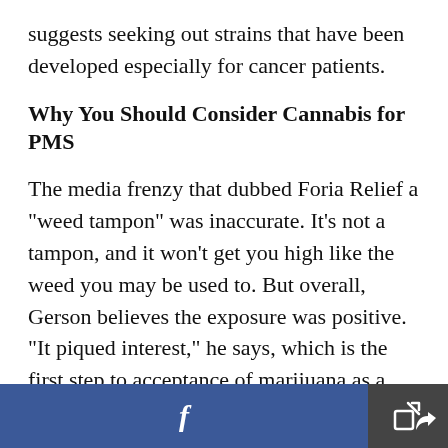suggests seeking out strains that have been developed especially for cancer patients.
Why You Should Consider Cannabis for PMS
The media frenzy that dubbed Foria Relief a "weed tampon" was inaccurate. It's not a tampon, and it won't get you high like the weed you may be used to. But overall, Gerson believes the exposure was positive. "It piqued interest," he says, which is the first step to acceptance of marijuana as a medicine. "It's not that cannabis is going to take the place of other drugs, but let's accept it and do more research on the many benefits that it has and put it
[Figure (screenshot): Bottom toolbar with Facebook share button (blue) and a share/export button (dark grey)]